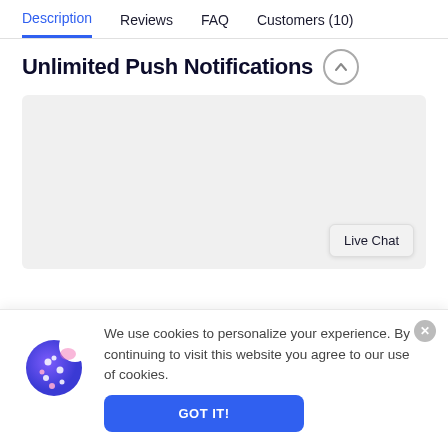Description | Reviews | FAQ | Customers (10)
Unlimited Push Notifications
[Figure (screenshot): Gray placeholder content area with a 'Live Chat' button in the bottom-right corner]
We use cookies to personalize your experience. By continuing to visit this website you agree to our use of cookies.
GOT IT!